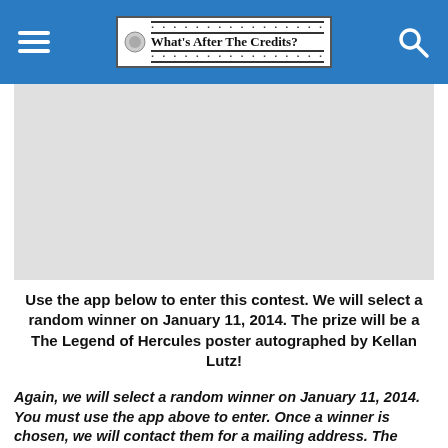What's After The Credits?
[Figure (photo): Light gray image placeholder area, likely a movie poster or promotional image for The Legend of Hercules.]
Use the app below to enter this contest. We will select a random winner on January 11, 2014. The prize will be a The Legend of Hercules poster autographed by Kellan Lutz!
Again, we will select a random winner on January 11, 2014. You must use the app above to enter. Once a winner is chosen, we will contact them for a mailing address. The Winners reply with